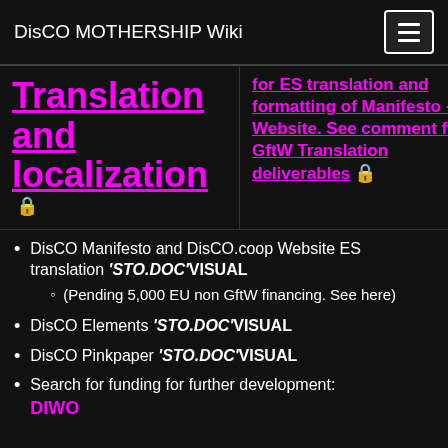DisCO MOTHERSHIP Wiki
Translation and localization 🔒
for ES translation and formatting of Manifesto + Website. See comment for GftW Translation deliverables 🔒
DisCO Manifesto and DisCO.coop Website ES translation 'STO.DOC'VISUAL
(Pending 5,000 EU non GftW financing. See here)
DisCO Elements 'STO.DOC'VISUAL
DisCO Pinkpaper 'STO.DOC'VISUAL
Search for funding for further development: DIWO